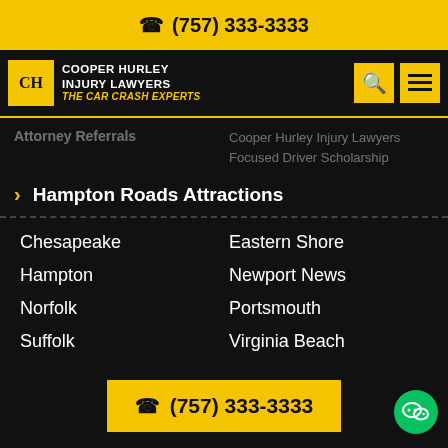(757) 333-3333
[Figure (logo): Cooper Hurley Injury Lawyers – The Car Crash Experts logo with yellow CH monogram box and navigation icons]
Attorney Referrals
Cooper Hurley Injury Lawyers Focused Driver Scholarship
Hampton Roads Attractions
Chesapeake
Eastern Shore
Hampton
Newport News
Norfolk
Portsmouth
Suffolk
Virginia Beach
(757) 333-3333